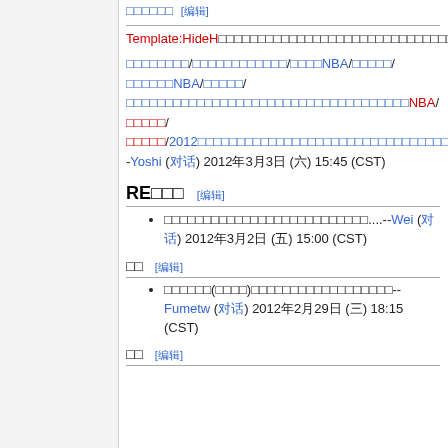□□□□□□ [编辑]
Template:HideH□□□□□□□□□□□□□□□□□□□□□□□□□□□□□□□□□□□□□□□□□□□□□□□□□□□□□
□□□□□□□□/□□□□□□□□□□□□□/□□□□NBA/□□□□□/□□□□□□NBA/□□□□□/□□□□□□□□□□□□□□□□□□□□□□□□□□□□□□□□□□□□□NBA/□□□□□/□□□□□/2012□□□□□□□□□□□□□□□□□□□□□□□□□□□□□□□□□□□□□□□□--Yoshi (对话) 2012年3月3日 (六) 15:45 (CST)
RE□□□ [编辑]
□□□□□□□□□□□□□□□□□□□□□□□□□□....--Wei (对话) 2012年3月2日 (五) 15:00 (CST)
□□ [编辑]
□□□□□□(□□□□)□□□□□□□□□□□□□□□□□□--Fumetw (对话) 2012年2月29日 (三) 18:15 (CST)
□□ [编辑]